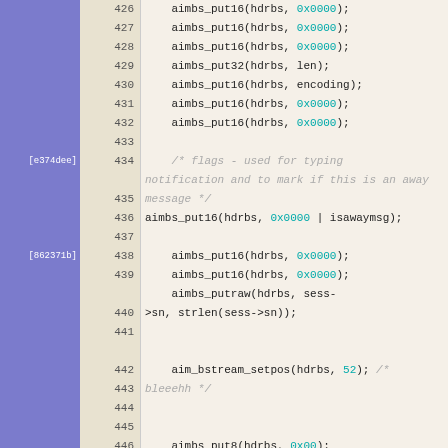[Figure (screenshot): Source code viewer showing C code lines 426-454 with line numbers, git blame gutter labels ([e374dee], [862371b], [5e53c4a]), and syntax-highlighted code including aimbs_put16, aimbs_put32, aimbs_putraw, aim_bstream_setpos function calls with hex constants in cyan and comments in gray italic.]